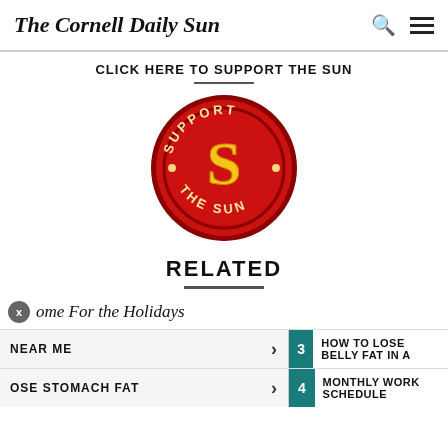The Cornell Daily Sun
CLICK HERE TO SUPPORT THE SUN
[Figure (logo): Support The Sun circular badge logo — red circle with gold stylized letter S in center, text 'SUPPORT' on top arc and 'THE SUN' on bottom arc in cream/yellow letters]
RELATED
Home For the Holidays
NEAR ME
3 HOW TO LOSE BELLY FAT IN A
OSE STOMACH FAT
4 MONTHLY WORK SCHEDULE